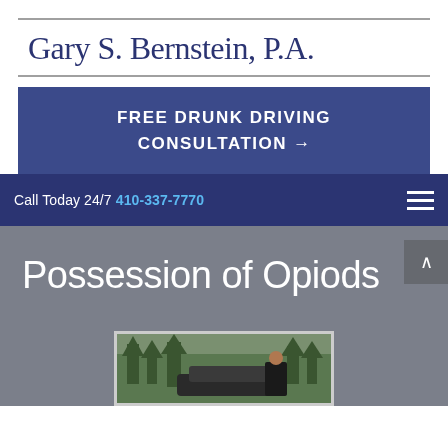Gary S. Bernstein, P.A.
FREE DRUNK DRIVING CONSULTATION →
Call Today 24/7 410-337-7770
Possession of Opiods
[Figure (photo): Photo of a man in a suit standing in front of trees and a car, outdoors setting]